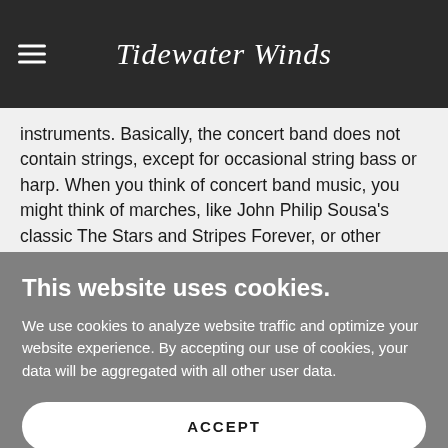Tidewater Winds
instruments. Basically, the concert band does not contain strings, except for occasional string bass or harp. When you think of concert band music, you might think of marches, like John Philip Sousa's classic The Stars and Stripes Forever, or other patriotic tunes. This is the music that kickstarted the American band tradition.
This website uses cookies.
We use cookies to analyze website traffic and optimize your website experience. By accepting our use of cookies, your data will be aggregated with all other user data.
ACCEPT